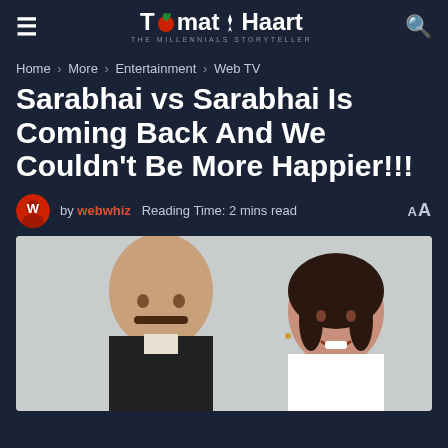TomatoHart — THE MILLENNIALS STORYTELLER
Home > More > Entertainment > Web TV
Sarabhai vs Sarabhai Is Coming Back And We Couldn't Be More Happier!!!
by webwhiz  Reading Time: 2 mins read
[Figure (photo): Photo of two actors from the show Sarabhai vs Sarabhai — a man with a moustache in a dark suit and a woman with dark hair smiling, against a light background]